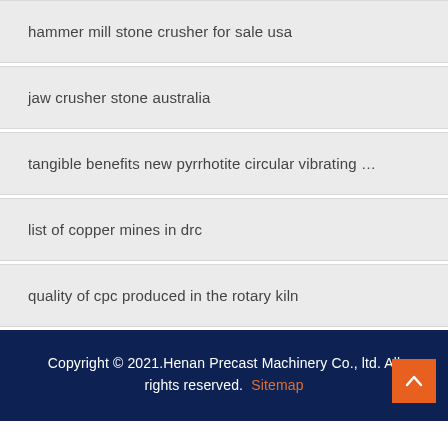hammer mill stone crusher for sale usa
jaw crusher stone australia
tangible benefits new pyrrhotite circular vibrating ...
list of copper mines in drc
quality of cpc produced in the rotary kiln
Copyright © 2021.Henan Precast Machinery Co., ltd. All rights reserved. Sitemap